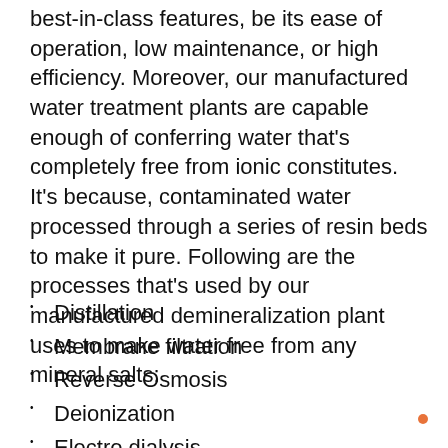best-in-class features, be its ease of operation, low maintenance, or high efficiency. Moreover, our manufactured water treatment plants are capable enough of conferring water that's completely free from ionic constitutes. It's because, contaminated water processed through a series of resin beds to make it pure. Following are the processes that's used by our manufactured demineralization plant uses to make water free from any mineral salts:
Distillation
Membrane filtration
Reverse Osmosis
Deionization
Electro dialysis
Further more the other processes of our manufactured